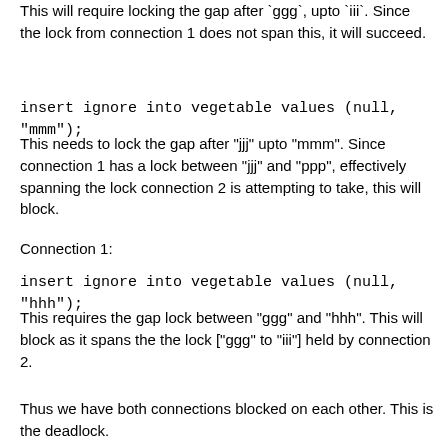This will require locking the gap after `ggg`, upto `iii`. Since the lock from connection 1 does not span this, it will succeed.
insert ignore into vegetable values (null, "mmm");
This needs to lock the gap after "jjj" upto "mmm". Since connection 1 has a lock between "jjj" and "ppp", effectively spanning the lock connection 2 is attempting to take, this will block.
Connection 1:
insert ignore into vegetable values (null, "hhh");
This requires the gap lock between "ggg" and "hhh". This will block as it spans the the lock ["ggg" to "iii"] held by connection 2.
Thus we have both connections blocked on each other. This is the deadlock.